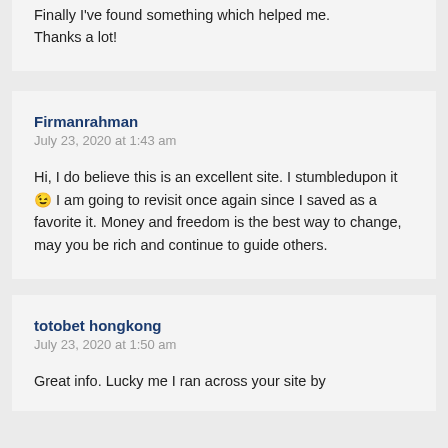Finally I've found something which helped me. Thanks a lot!
Firmanrahman
July 23, 2020 at 1:43 am
Hi, I do believe this is an excellent site. I stumbledupon it 😉 I am going to revisit once again since I saved as a favorite it. Money and freedom is the best way to change, may you be rich and continue to guide others.
totobet hongkong
July 23, 2020 at 1:50 am
Great info. Lucky me I ran across your site by